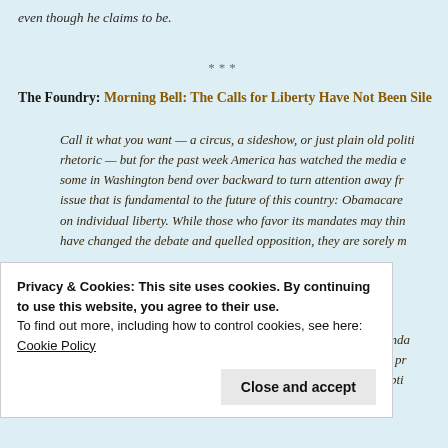even though he claims to be.
***
The Foundry: Morning Bell: The Calls for Liberty Have Not Been Sile…
Call it what you want — a circus, a sideshow, or just plain old politi rhetoric — but for the past week America has watched the media e some in Washington bend over backward to turn attention away fr issue that is fundamental to the future of this country: Obamacare on individual liberty. While those who favor its mandates may thin have changed the debate and quelled opposition, they are sorely m
It all stems from a decision by the Obama Administration to manda religious employers, including schools, hospitals, and charities, pr health care coverage for abortion-inducing drugs and contracepti…
Privacy & Cookies: This site uses cookies. By continuing to use this website, you agree to their use.
To find out more, including how to control cookies, see here: Cookie Policy
Close and accept